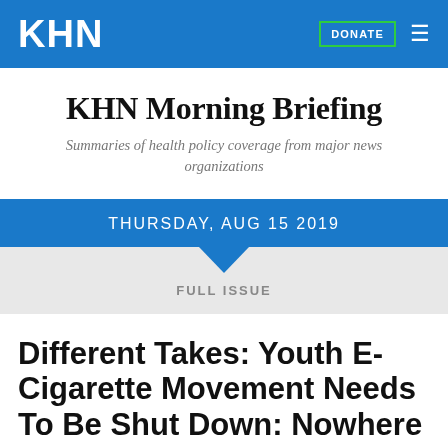KHN
KHN Morning Briefing
Summaries of health policy coverage from major news organizations
THURSDAY, AUG 15 2019
FULL ISSUE
Different Takes: Youth E-Cigarette Movement Needs To Be Shut Down: Nowhere In The